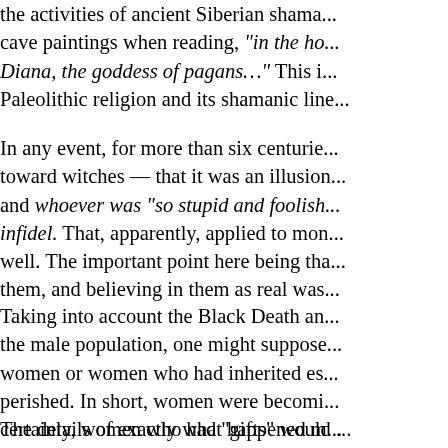the activities of ancient Siberian shama... cave paintings when reading, "in the ho... Diana, the goddess of pagans…" This i... Paleolithic religion and its shamanic line...
In any event, for more than six centurie... toward witches — that it was an illusion... and whoever was "so stupid and foolish... infidel. That, apparently, applied to mon... well. The important point here being tha... them, and believing in them as real was...
Taking into account the Black Death an... the male population, one might suppose... women or women who had inherited es... perished. In short, women were becomi... certainly, women who had "gifts" would ... those who did not.
The details of exactly what happened m... up of history instituted by Joseph Just...